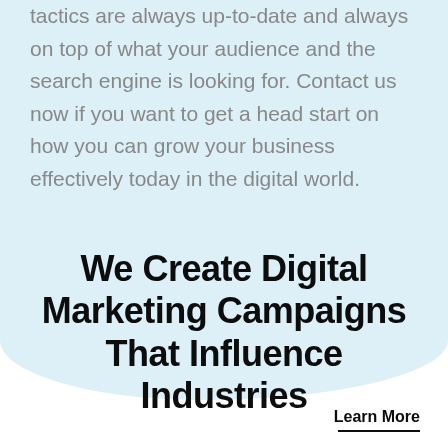tactics are always up-to-date and always on top of what your audience and the search engine is looking for. Contact us now if you want to get a head start on how you can grow your business effectively today in the digital world.
We Create Digital Marketing Campaigns That Influence Industries
Learn More